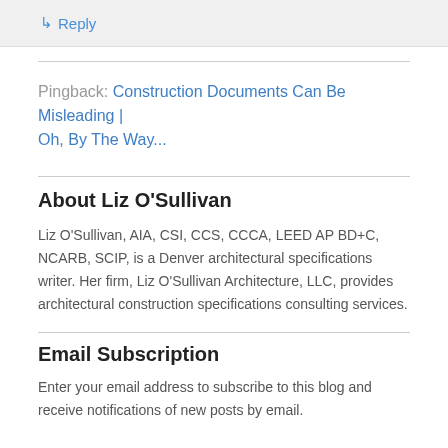↳ Reply
Pingback: Construction Documents Can Be Misleading | Oh, By The Way...
About Liz O'Sullivan
Liz O'Sullivan, AIA, CSI, CCS, CCCA, LEED AP BD+C, NCARB, SCIP, is a Denver architectural specifications writer. Her firm, Liz O'Sullivan Architecture, LLC, provides architectural construction specifications consulting services.
Email Subscription
Enter your email address to subscribe to this blog and receive notifications of new posts by email.